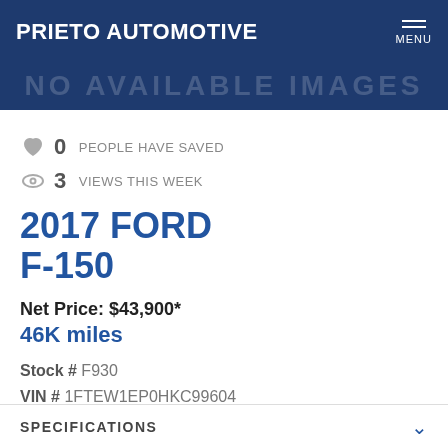PRIETO AUTOMOTIVE
[Figure (other): Faded watermark text reading 'NO AVAILABLE IMAGES' on dark blue background]
0 PEOPLE HAVE SAVED
3 VIEWS THIS WEEK
2017 FORD F-150
Net Price: $43,900*
46K miles
Stock # F930
VIN # 1FTEW1EP0HKC99604
SPECIFICATIONS